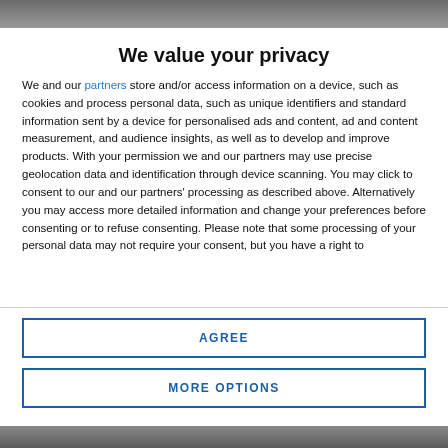[Figure (photo): Photo strip at the top of the page, partially visible]
We value your privacy
We and our partners store and/or access information on a device, such as cookies and process personal data, such as unique identifiers and standard information sent by a device for personalised ads and content, ad and content measurement, and audience insights, as well as to develop and improve products. With your permission we and our partners may use precise geolocation data and identification through device scanning. You may click to consent to our and our partners' processing as described above. Alternatively you may access more detailed information and change your preferences before consenting or to refuse consenting. Please note that some processing of your personal data may not require your consent, but you have a right to
AGREE
MORE OPTIONS
[Figure (photo): Photo strip at the bottom of the page, partially visible]